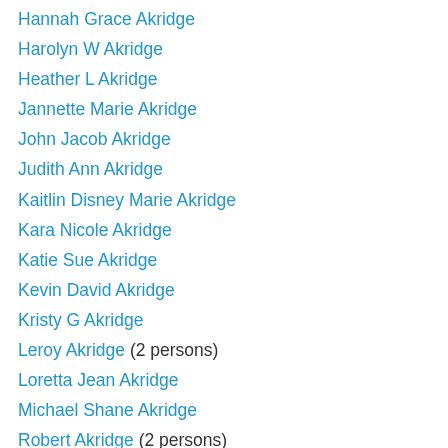Hannah Grace Akridge
Harolyn W Akridge
Heather L Akridge
Jannette Marie Akridge
John Jacob Akridge
Judith Ann Akridge
Kaitlin Disney Marie Akridge
Kara Nicole Akridge
Katie Sue Akridge
Kevin David Akridge
Kristy G Akridge
Leroy Akridge (2 persons)
Loretta Jean Akridge
Michael Shane Akridge
Robert Akridge (2 persons)
Scott H Akridge
Tiffany Rae Akridge
Tressie Mae Akridge